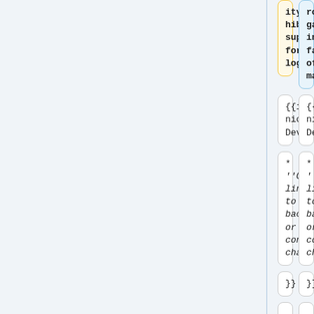ity: hibri support for logo
row gap in favor of margins
{{ircnick|irc-nickname|Requesting Developer}}
{{ircnick|irc-nickname|Requesting Developer}}
* ''Gerrit link to backport or config change''
* ''Gerrit link to backport or config change''
}}
}}
===
{{Deployment_day|date=2022-05-
===
{{Deployment_day|date=2022-08-